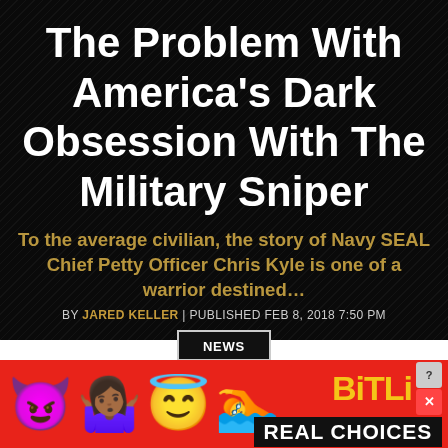The Problem With America’s Dark Obsession With The Military Sniper
To the average civilian, the story of Navy SEAL Chief Petty Officer Chris Kyle is one of a warrior destined…
BY JARED KELLER | PUBLISHED FEB 8, 2018 7:50 PM
NEWS
[Figure (other): Advertisement banner with red background, emoji characters (devil, woman, angel, sperm), BitLife logo in yellow, help and close buttons, and REAL CHOICES text in white on black background]